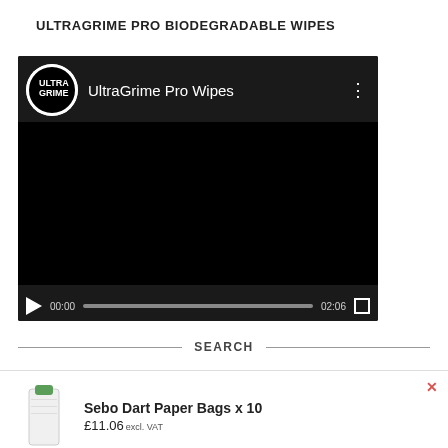ULTRAGRIME PRO BIODEGRADABLE WIPES
[Figure (screenshot): Embedded video player showing UltraGrime Pro Wipes video. Dark player with logo, title 'UltraGrime Pro Wipes', three-dot menu, black playback area, and controls showing 00:00 / 02:06 with play button and fullscreen icon.]
SEARCH
[Figure (screenshot): Product popup showing Sebo Dart Paper Bags x 10 with product image (white bag with green cap), price £11.06 excl. VAT, red X close button, and orange 'Add to basket' button.]